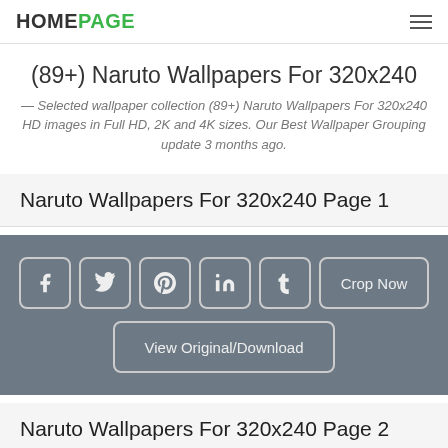HOMEPAGE
(89+) Naruto Wallpapers For 320x240
— Selected wallpaper collection (89+) Naruto Wallpapers For 320x240 HD images in Full HD, 2K and 4K sizes. Our Best Wallpaper Grouping update 3 months ago.
Naruto Wallpapers For 320x240 Page 1
[Figure (other): Social sharing buttons: Facebook, Twitter, Pinterest, LinkedIn, Tumblr icons, plus Crop Now button and View Original/Download button on dark grey background]
Naruto Wallpapers For 320x240 Page 2